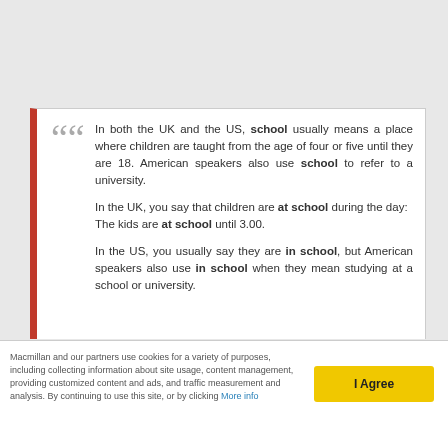In both the UK and the US, school usually means a place where children are taught from the age of four or five until they are 18. American speakers also use school to refer to a university.

In the UK, you say that children are at school during the day:
The kids are at school until 3.00.

In the US, you usually say they are in school, but American speakers also use in school when they mean studying at a school or university.
Macmillan and our partners use cookies for a variety of purposes, including collecting information about site usage, content management, providing customized content and ads, and traffic measurement and analysis. By continuing to use this site, or by clicking More info